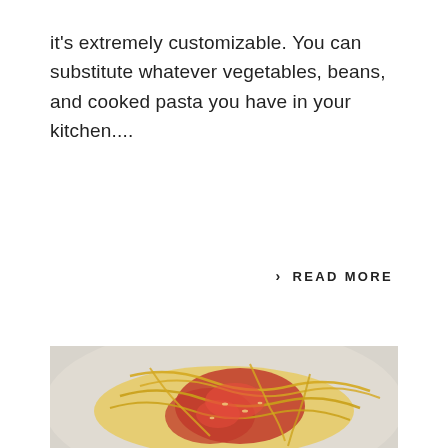it's extremely customizable. You can substitute whatever vegetables, beans, and cooked pasta you have in your kitchen....
> READ MORE
[Figure (photo): A close-up photo of spaghetti pasta with red tomato sauce on a light-colored plate, viewed from above.]